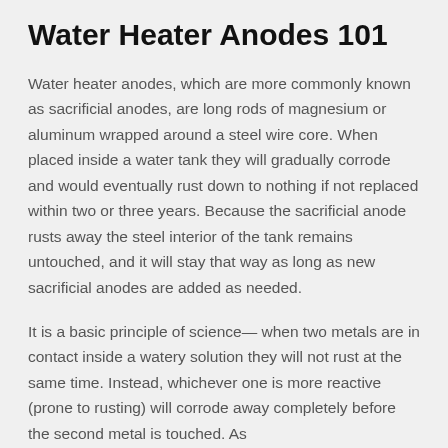Water Heater Anodes 101
Water heater anodes, which are more commonly known as sacrificial anodes, are long rods of magnesium or aluminum wrapped around a steel wire core. When placed inside a water tank they will gradually corrode and would eventually rust down to nothing if not replaced within two or three years. Because the sacrificial anode rusts away the steel interior of the tank remains untouched, and it will stay that way as long as new sacrificial anodes are added as needed.
It is a basic principle of science— when two metals are in contact inside a watery solution they will not rust at the same time. Instead, whichever one is more reactive (prone to rusting) will corrode away completely before the second metal is touched. As